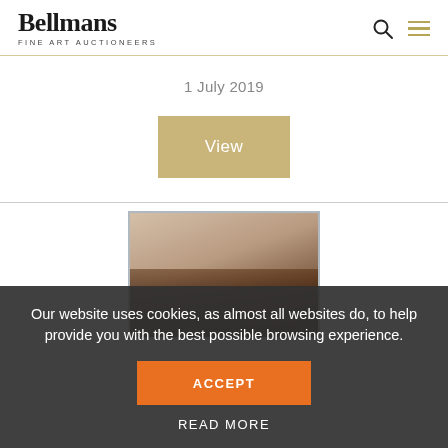Bellmans Fine Art Auctioneers
1 July 2019
View
[Figure (photo): Partial view of a framed artwork or painting, cropped, showing warm brown tones with a dark lower section suggesting an interior scene]
Our website uses cookies, as almost all websites do, to help provide you with the best possible browsing experience.
ACCEPT
READ MORE